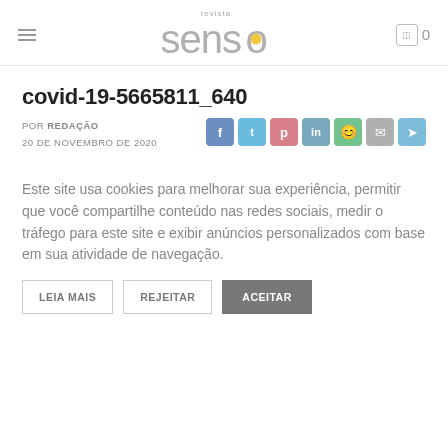revista senso
covid-19-5665811_640
POR REDAÇÃO
20 DE NOVEMBRO DE 2020
Este site usa cookies para melhorar sua experiência, permitir que você compartilhe conteúdo nas redes sociais, medir o tráfego para este site e exibir anúncios personalizados com base em sua atividade de navegação.
LEIA MAIS  REJEITAR  ACEITAR